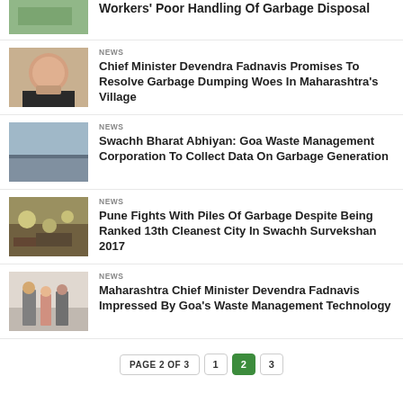[Figure (photo): Partial top news item thumbnail - cut off at top]
Workers' Poor Handling Of Garbage Disposal
[Figure (photo): Portrait photo of Chief Minister Devendra Fadnavis smiling]
NEWS
Chief Minister Devendra Fadnavis Promises To Resolve Garbage Dumping Woes In Maharashtra's Village
[Figure (photo): Photo of a beach or waterfront with boats]
NEWS
Swachh Bharat Abhiyan: Goa Waste Management Corporation To Collect Data On Garbage Generation
[Figure (photo): Photo of garbage pile]
NEWS
Pune Fights With Piles Of Garbage Despite Being Ranked 13th Cleanest City In Swachh Survekshan 2017
[Figure (photo): Photo of Maharashtra CM Devendra Fadnavis walking with officials]
NEWS
Maharashtra Chief Minister Devendra Fadnavis Impressed By Goa's Waste Management Technology
PAGE 2 OF 3  1  2  3